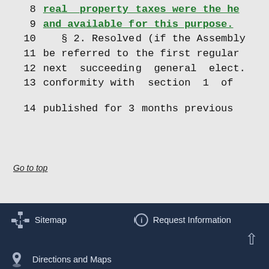8  real  property taxes were the he
9  and available for this purpose.
10     § 2. Resolved (if the Assembly
11  be referred to the first regular
12  next  succeeding  general  elect.
13  conformity with  section  1  of
14  published for 3 months previous
Go to top
Sitemap  Request Information  Directions and Maps